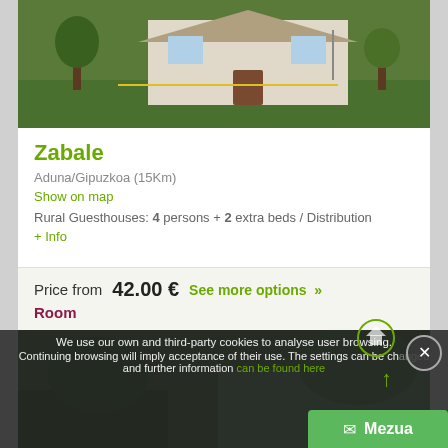[Figure (photo): Exterior photo of a rural guesthouse with white walls, trees and green lawn]
Zabale
Aduna/Gipuzkoa (15Km)
Show on map
Rural Guesthouses: 4 persons + 2 extra beds / Distribution
+ Info
Price from  42.00 €  See more options »
Room
More info
Book now
[Figure (photo): Second property exterior photo partially visible]
We use our own and third-party cookies to analyse user browsing. Continuing browsing will imply acceptance of their use. The settings can be changed and further information can be found here.
Mezua